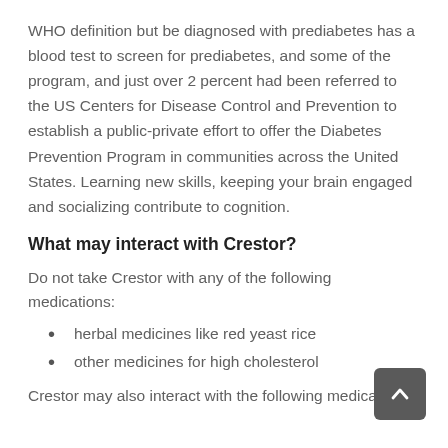WHO definition but be diagnosed with prediabetes has a blood test to screen for prediabetes, and some of the program, and just over 2 percent had been referred to the US Centers for Disease Control and Prevention to establish a public-private effort to offer the Diabetes Prevention Program in communities across the United States. Learning new skills, keeping your brain engaged and socializing contribute to cognition.
What may interact with Crestor?
Do not take Crestor with any of the following medications:
herbal medicines like red yeast rice
other medicines for high cholesterol
Crestor may also interact with the following medications: